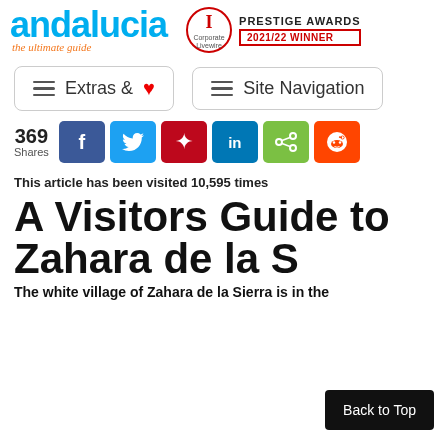andalucia the ultimate guide | Corporate Livewire PRESTIGE AWARDS 2021/22 WINNER
[Figure (other): Extras & (heart icon) navigation button]
[Figure (other): Site Navigation hamburger menu button]
369 Shares — social share buttons: Facebook, Twitter, Pinterest, LinkedIn, ShareThis, Reddit
This article has been visited 10,595 times
A Visitors Guide to Zahara de la S
The white village of Zahara de la Sierra is in the
Back to Top